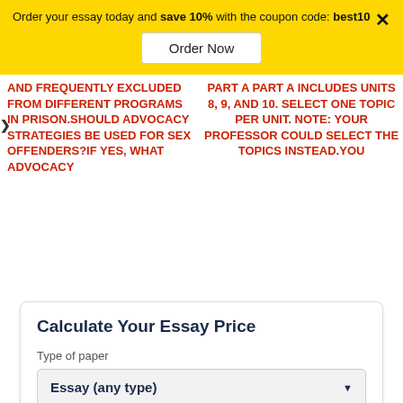Order your essay today and save 10% with the coupon code: best10
Order Now
AND FREQUENTLY EXCLUDED FROM DIFFERENT PROGRAMS IN PRISON.SHOULD ADVOCACY STRATEGIES BE USED FOR SEX OFFENDERS?IF YES, WHAT ADVOCACY
PART A PART A INCLUDES UNITS 8, 9, AND 10. SELECT ONE TOPIC PER UNIT. NOTE: YOUR PROFESSOR COULD SELECT THE TOPICS INSTEAD.YOU
Calculate Your Essay Price
Type of paper
Essay (any type)
Academic level
Undergrad. (yrs 1-2)